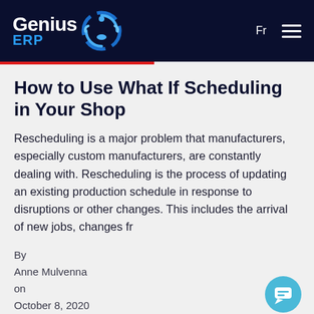Genius ERP — Fr — Navigation menu
How to Use What If Scheduling in Your Shop
Rescheduling is a major problem that manufacturers, especially custom manufacturers, are constantly dealing with. Rescheduling is the process of updating an existing production schedule in response to disruptions or other changes. This includes the arrival of new jobs, changes fr
By
Anne Mulvenna
on
October 8, 2020